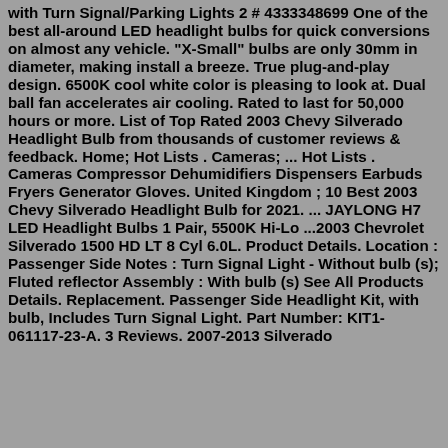with Turn Signal/Parking Lights 2 # 4333348699 One of the best all-around LED headlight bulbs for quick conversions on almost any vehicle. "X-Small" bulbs are only 30mm in diameter, making install a breeze. True plug-and-play design. 6500K cool white color is pleasing to look at. Dual ball fan accelerates air cooling. Rated to last for 50,000 hours or more. List of Top Rated 2003 Chevy Silverado Headlight Bulb from thousands of customer reviews & feedback. Home; Hot Lists . Cameras; ... Hot Lists . Cameras Compressor Dehumidifiers Dispensers Earbuds Fryers Generator Gloves. United Kingdom ; 10 Best 2003 Chevy Silverado Headlight Bulb for 2021. ... JAYLONG H7 LED Headlight Bulbs 1 Pair, 5500K Hi-Lo ...2003 Chevrolet Silverado 1500 HD LT 8 Cyl 6.0L. Product Details. Location : Passenger Side Notes : Turn Signal Light - Without bulb (s); Fluted reflector Assembly : With bulb (s) See All Products Details. Replacement. Passenger Side Headlight Kit, with bulb, Includes Turn Signal Light. Part Number: KIT1-061117-23-A. 3 Reviews. 2007-2013 Silverado